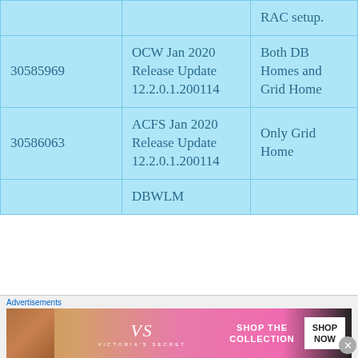|  |  | RAC setup. |
| --- | --- | --- |
| 30585969 | OCW Jan 2020 Release Update 12.2.0.1.200114 | Both DB Homes and Grid Home |
| 30586063 | ACFS Jan 2020 Release Update 12.2.0.1.200114 | Only Grid Home |
|  | DBWLM |  |
Advertisements